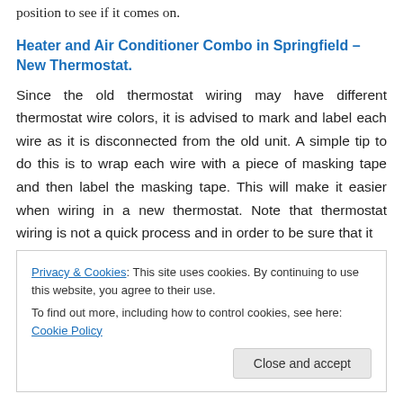position to see if it comes on.
Heater and Air Conditioner Combo in Springfield – New Thermostat.
Since the old thermostat wiring may have different thermostat wire colors, it is advised to mark and label each wire as it is disconnected from the old unit. A simple tip to do this is to wrap each wire with a piece of masking tape and then label the masking tape. This will make it easier when wiring in a new thermostat. Note that thermostat wiring is not a quick process and in order to be sure that it is done correctly time must be taken to ensure that all of
Privacy & Cookies: This site uses cookies. By continuing to use this website, you agree to their use.
To find out more, including how to control cookies, see here: Cookie Policy
Close and accept